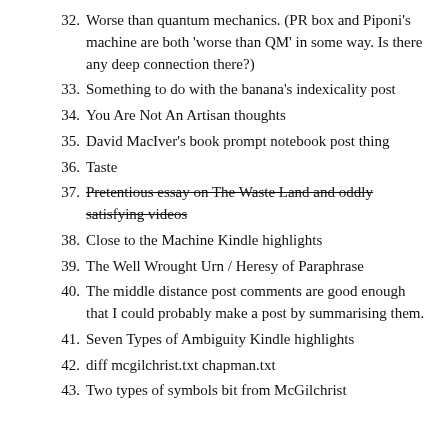32. Worse than quantum mechanics. (PR box and Piponi’s machine are both ‘worse than QM’ in some way. Is there any deep connection there?)
33. Something to do with the banana’s indexicality post
34. You Are Not An Artisan thoughts
35. David MacIver’s book prompt notebook post thing
36. Taste
37. Pretentious essay on The Waste Land and oddly satisfying videos [strikethrough]
38. Close to the Machine Kindle highlights
39. The Well Wrought Urn / Heresy of Paraphrase
40. The middle distance post comments are good enough that I could probably make a post by summarising them.
41. Seven Types of Ambiguity Kindle highlights
42. diff mcgilchrist.txt chapman.txt
43. Two types of symbols bit from McGilchrist